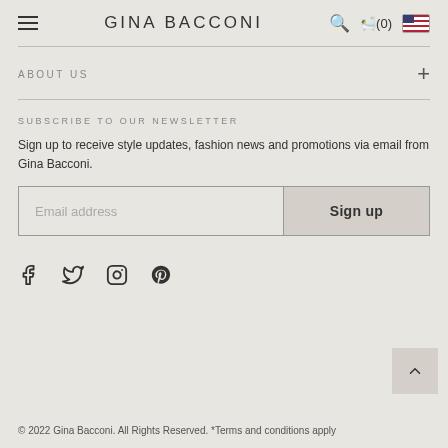GINA BACCONI
ABOUT US
SUBSCRIBE TO OUR NEWSLETTER
Sign up to receive style updates, fashion news and promotions via email from Gina Bacconi.
[Figure (screenshot): Email address input field with Sign up button]
[Figure (infographic): Social media icons: Facebook, Twitter, Instagram, Pinterest]
© 2022 Gina Bacconi. All Rights Reserved. *Terms and conditions apply